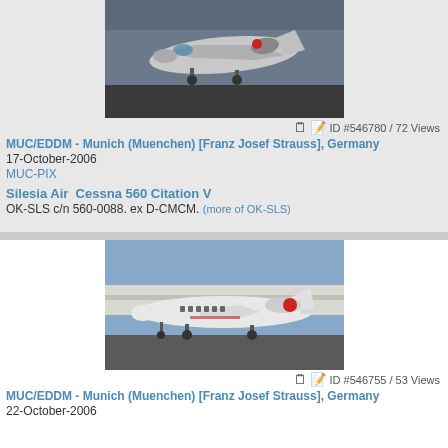[Figure (photo): Aircraft photo - Silesia Air Cessna 560 Citation V on taxiway, top view angle, golden hour lighting]
ID #546780 / 72 Views
MUC/EDDM - Munich (Muenchen) [Franz Josef Strauss], Germany
17-October-2006
MUC-PIX
Silesia Air  Cessna 560 Citation V
OK-SLS c/n 560-0088. ex D-CMCM. (more of OK-SLS)
[Figure (photo): Aircraft photo - Cessna Citation on airport apron, side view, clear blue sky, white aircraft with red markings]
ID #546755 / 53 Views
MUC/EDDM - Munich (Muenchen) [Franz Josef Strauss], Germany
22-October-2006